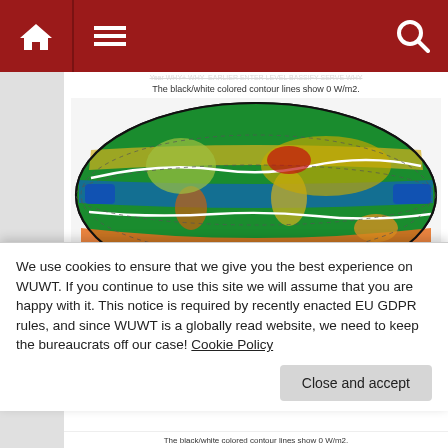WUWT navigation bar with home, menu, and search icons
The black/white colored contour lines show 0 W/m2.
[Figure (map): Global map (Mollweide/oval projection) showing CERES EBAF 4.1 radiation data with color scale from -70 W/m2 (blue) to 50 W/m2 (red/orange). White contour lines mark 0 W/m2. Tropical regions show positive values (yellow/orange/red), mid-latitudes show green/negative values, equatorial ocean bands show blue (negative).]
DATA: CERES EBAF 4.1 https://ceres.larc.nasa.gov/data/
[Figure (infographic): Color legend bar showing: -70 W/m2 (dark blue), -46 W/m2 (cyan), -22 W/m2 (green), 2 W/m2 (yellow), 26 W/m2 (orange), 50 W/m2 (dark red)]
We use cookies to ensure that we give you the best experience on WUWT. If you continue to use this site we will assume that you are happy with it. This notice is required by recently enacted EU GDPR rules, and since WUWT is a globally read website, we need to keep the bureaucrats off our case! Cookie Policy
Close and accept
The black/white colored contour lines show 0 W/m2.